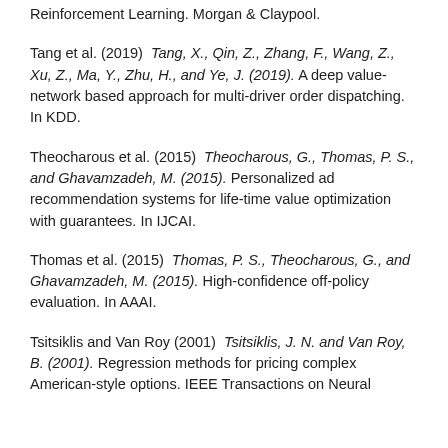Reinforcement Learning. Morgan & Claypool.
Tang et al. (2019) Tang, X., Qin, Z., Zhang, F., Wang, Z., Xu, Z., Ma, Y., Zhu, H., and Ye, J. (2019). A deep value-network based approach for multi-driver order dispatching. In KDD.
Theocharous et al. (2015) Theocharous, G., Thomas, P. S., and Ghavamzadeh, M. (2015). Personalized ad recommendation systems for life-time value optimization with guarantees. In IJCAI.
Thomas et al. (2015) Thomas, P. S., Theocharous, G., and Ghavamzadeh, M. (2015). High-confidence off-policy evaluation. In AAAI.
Tsitsiklis and Van Roy (2001) Tsitsiklis, J. N. and Van Roy, B. (2001). Regression methods for pricing complex American-style options. IEEE Transactions on Neural